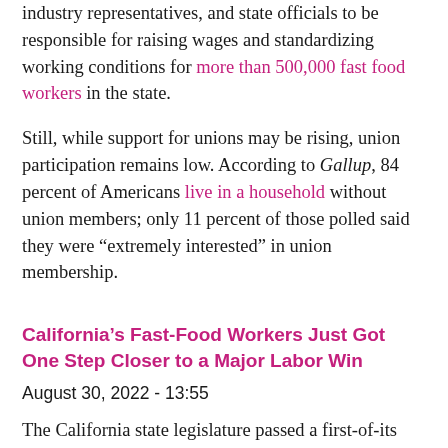industry representatives, and state officials to be responsible for raising wages and standardizing working conditions for more than 500,000 fast food workers in the state.
Still, while support for unions may be rising, union participation remains low. According to Gallup, 84 percent of Americans live in a household without union members; only 11 percent of those polled said they were “extremely interested” in union membership.
California’s Fast-Food Workers Just Got One Step Closer to a Major Labor Win
August 30, 2022 - 13:55
The California state legislature passed a first-of-its kind bill on Tuesday that would establish a council to set minimum wages and working conditions for the state’s more than half a million non-unionized fast